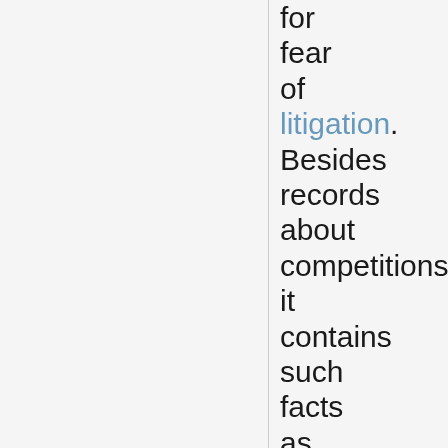for fear of litigation. Besides records about competitions, it contains such facts as the height